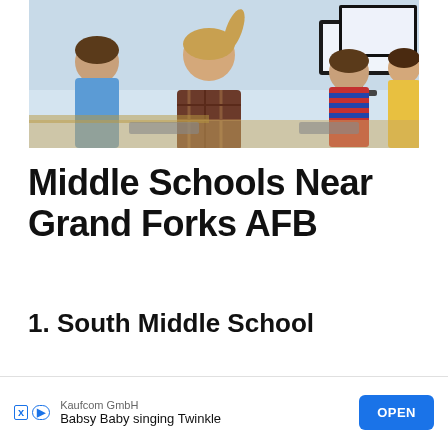[Figure (photo): Children sitting at computers in a classroom, viewed from behind, with large monitors displaying content. A girl with a ponytail is visible in the foreground.]
Middle Schools Near Grand Forks AFB
1. South Middle School
District: Grand Forks Public Schools
1999 47th Ave. S
Gra...
Ph...
[Figure (other): Advertisement overlay: Kaufcom GmbH - Babsy Baby singing Twinkle, with OPEN button]